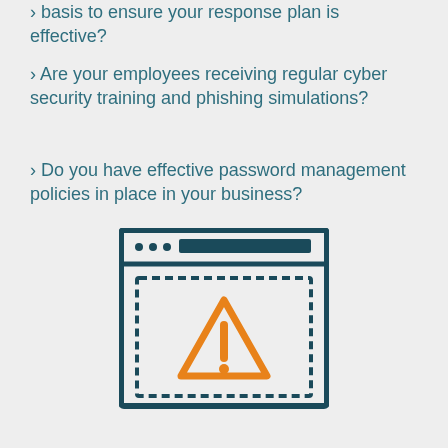› basis to ensure your response plan is effective?
› Are your employees receiving regular cyber security training and phishing simulations?
› Do you have effective password management policies in place in your business?
[Figure (illustration): Browser window icon with a dashed inner border containing an orange warning triangle with exclamation mark, rendered in dark teal and orange outline style]